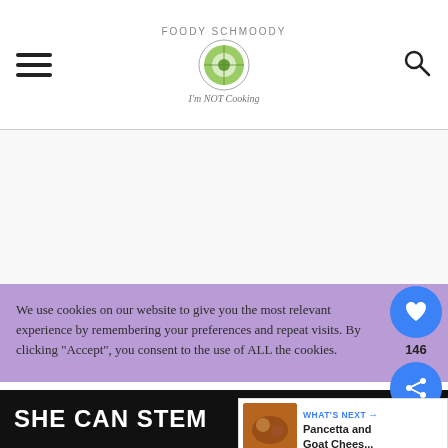FOODY SCHMOODY — I'm NOT Cooking
[Figure (screenshot): White blank advertisement area in the center of the page]
We use cookies on our website to give you the most relevant experience by remembering your preferences and repeat visits. By clicking "Accept", you consent to the use of ALL the cookies.
[Figure (infographic): Social sidebar with heart/like button showing 146 likes and a share button, both in blue circles]
[Figure (screenshot): WHAT'S NEXT widget showing Pancetta and Goat Chees... with a food thumbnail]
[Figure (screenshot): Bottom black banner showing SHE CAN STEM advertisement]